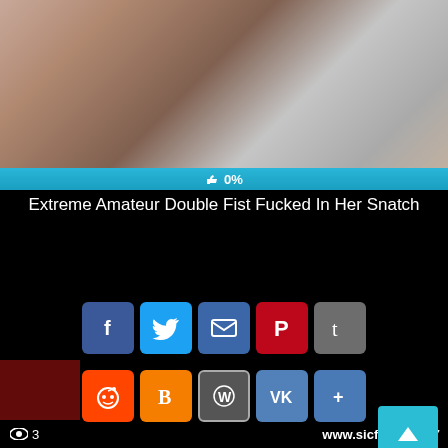[Figure (screenshot): Video thumbnail showing a blurry scene with overlaid view count (eye icon, 3), website URL (www.sicfli), and duration (06:47). A cyan progress bar below shows 0% with a thumbs-up icon.]
Extreme Amateur Double Fist Fucked In Her Snatch
[Figure (infographic): Row of social sharing buttons: Facebook, Twitter, Email, Pinterest, Tumblr; and second row: Reddit, Blogger, WordPress, VK, More. A teal scroll-to-top button is on the right.]